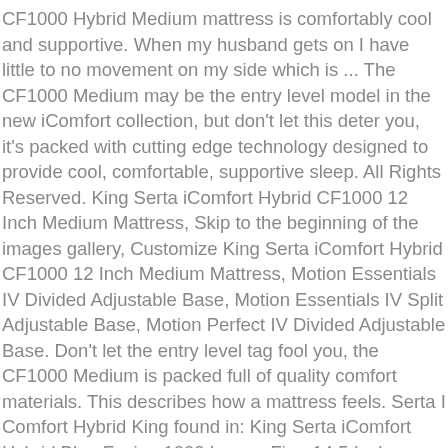CF1000 Hybrid Medium mattress is comfortably cool and supportive. When my husband gets on I have little to no movement on my side which is ... The CF1000 Medium may be the entry level model in the new iComfort collection, but don't let this deter you, it's packed with cutting edge technology designed to provide cool, comfortable, supportive sleep. All Rights Reserved. King Serta iComfort Hybrid CF1000 12 Inch Medium Mattress, Skip to the beginning of the images gallery, Customize King Serta iComfort Hybrid CF1000 12 Inch Medium Mattress, Motion Essentials IV Divided Adjustable Base, Motion Essentials IV Split Adjustable Base, Motion Perfect IV Divided Adjustable Base. Don't let the entry level tag fool you, the CF1000 Medium is packed full of quality comfort materials. This describes how a mattress feels. Serta I Comfort Hybrid King found in: King Serta iComfort Hybrid Blue Fusion 1000 Luxury Firm 14.5 Inch Mattress, King